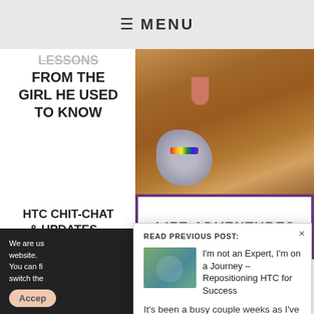≡ MENU
LESSONS FROM THE GIRL HE USED TO KNOW
[Figure (photo): A brown dog with mouth open holding a grey stuffed elephant toy, with a purple/green 'LIFE ADVENTURES' banner below]
HTC CHIT-CHAT & UPDATES – JULY 14 UTAH
READ PREVIOUS POST:
I'm not an Expert, I'm on a Journey – Repositioning HTC for Success
It's been a busy couple weeks as I've adjusted to my new job and work schedule, managed two busy schedules...
We are us website.
You can fi
switch the
Accept